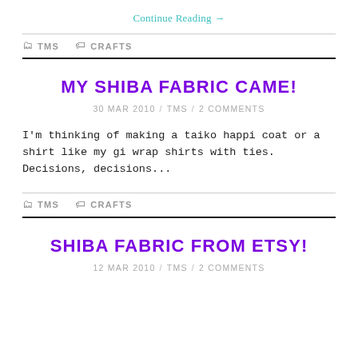Continue Reading →
TMS   CRAFTS
MY SHIBA FABRIC CAME!
30 MAR 2010 / TMS / 2 COMMENTS
I'm thinking of making a taiko happi coat or a shirt like my gi wrap shirts with ties.  Decisions, decisions...
TMS   CRAFTS
SHIBA FABRIC FROM ETSY!
12 MAR 2010 / TMS / 2 COMMENTS